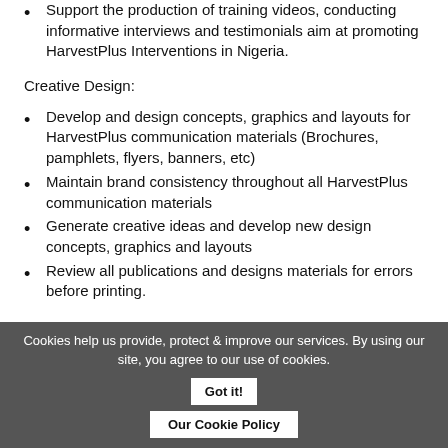Support the production of training videos, conducting informative interviews and testimonials aim at promoting HarvestPlus Interventions in Nigeria.
Creative Design:
Develop and design concepts, graphics and layouts for HarvestPlus communication materials (Brochures, pamphlets, flyers, banners, etc)
Maintain brand consistency throughout all HarvestPlus communication materials
Generate creative ideas and develop new design concepts, graphics and layouts
Review all publications and designs materials for errors before printing.
Cookies help us provide, protect & improve our services. By using our site, you agree to our use of cookies.
Got it!
Our Cookie Policy